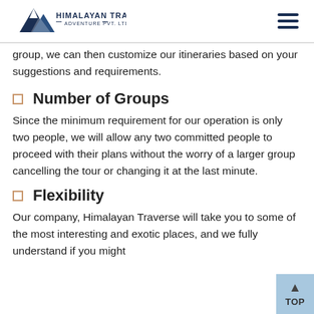Himalayan Traverse Adventure Pvt. Ltd. — navigation header
group, we can then customize our itineraries based on your suggestions and requirements.
Number of Groups
Since the minimum requirement for our operation is only two people, we will allow any two committed people to proceed with their plans without the worry of a larger group cancelling the tour or changing it at the last minute.
Flexibility
Our company, Himalayan Traverse will take you to some of the most interesting and exotic places, and we fully understand if you might